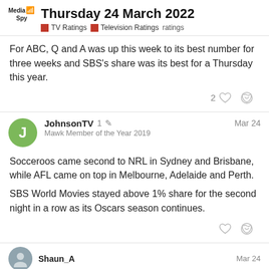Thursday 24 March 2022 | TV Ratings | Television Ratings | ratings
For ABC, Q and A was up this week to its best number for three weeks and SBS's share was its best for a Thursday this year.
JohnsonTV 1 Mar 24
Mawk Member of the Year 2019
Socceroos came second to NRL in Sydney and Brisbane, while AFL came on top in Melbourne, Adelaide and Perth.
SBS World Movies stayed above 1% share for the second night in a row as its Oscars season continues.
Shaun_A Mar 24